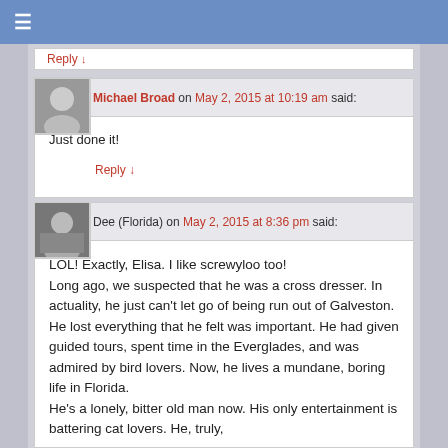≡
Reply ↓
Michael Broad on May 2, 2015 at 10:19 am said:
Just done it!
Reply ↓
Dee (Florida) on May 2, 2015 at 8:36 pm said:
LOL! Exactly, Elisa. I like screwyloo too!
Long ago, we suspected that he was a cross dresser. In actuality, he just can't let go of being run out of Galveston. He lost everything that he felt was important. He had given guided tours, spent time in the Everglades, and was admired by bird lovers. Now, he lives a mundane, boring life in Florida.
He's a lonely, bitter old man now. His only entertainment is battering cat lovers. He, truly,